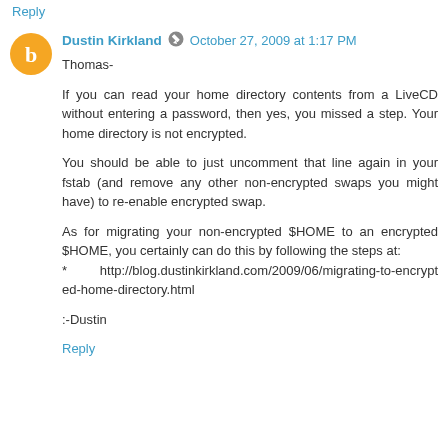Reply
Dustin Kirkland  October 27, 2009 at 1:17 PM
Thomas-

If you can read your home directory contents from a LiveCD without entering a password, then yes, you missed a step. Your home directory is not encrypted.

You should be able to just uncomment that line again in your fstab (and remove any other non-encrypted swaps you might have) to re-enable encrypted swap.

As for migrating your non-encrypted $HOME to an encrypted $HOME, you certainly can do this by following the steps at:
*        http://blog.dustinkirkland.com/2009/06/migrating-to-encrypted-home-directory.html

:-Dustin
Reply